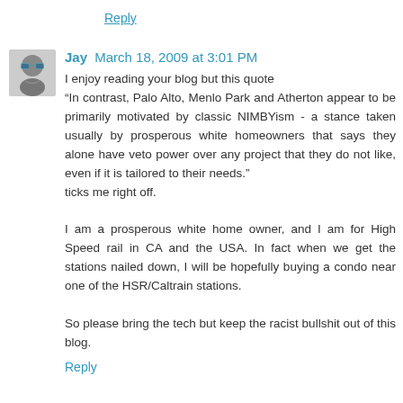Reply
Jay  March 18, 2009 at 3:01 PM
I enjoy reading your blog but this quote
"In contrast, Palo Alto, Menlo Park and Atherton appear to be primarily motivated by classic NIMBYism - a stance taken usually by prosperous white homeowners that says they alone have veto power over any project that they do not like, even if it is tailored to their needs."
ticks me right off.

I am a prosperous white home owner, and I am for High Speed rail in CA and the USA. In fact when we get the stations nailed down, I will be hopefully buying a condo near one of the HSR/Caltrain stations.

So please bring the tech but keep the racist bullshit out of this blog.
Reply